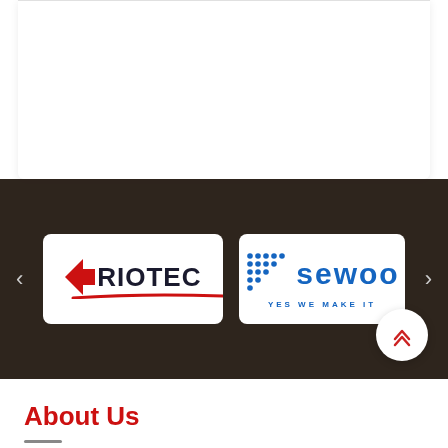[Figure (logo): RIOTEC logo — red arrow and bold dark text 'RIOTEC' with red underline swoosh, on white card background]
[Figure (logo): SEWOO YES WE MAKE IT logo — blue dot grid pattern and bold blue text 'sewoo' with tagline 'YES WE MAKE IT', on white card background]
About Us